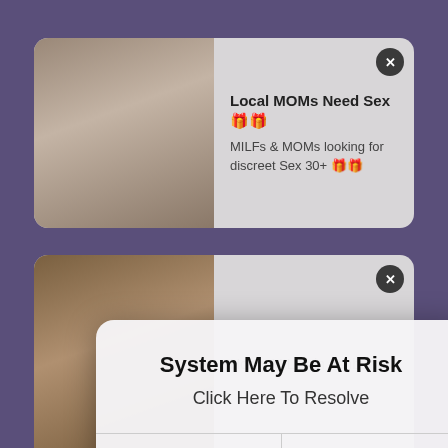[Figure (screenshot): Ad card 1: advertisement showing a woman photo with text 'Local MOMs Need Sex' and 'MILFs & MOMs looking for discreet Sex 30+' with a close (x) button]
[Figure (screenshot): Ad card 2: advertisement showing a woman photo with text 'Horny MILFs in Ashburn' with a close (x) button, partially obscured by dialog]
[Figure (screenshot): System alert dialog box with title 'System May Be At Risk', message 'Click Here To Resolve', and two buttons: CANCEL and OK]